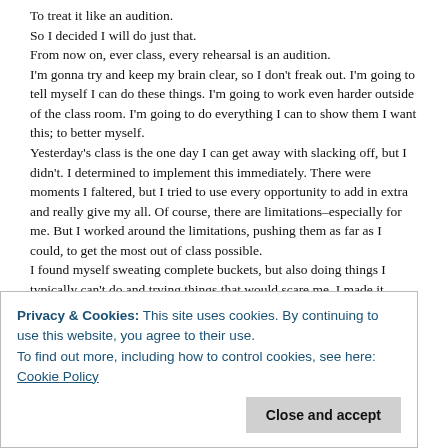To treat it like an audition.
So I decided I will do just that.
From now on, ever class, every rehearsal is an audition.
I'm gonna try and keep my brain clear, so I don't freak out. I'm going to tell myself I can do these things. I'm going to work even harder outside of the class room. I'm going to do everything I can to show them I want this; to better myself.
Yesterday's class is the one day I can get away with slacking off, but I didn't. I determined to implement this immediately. There were moments I faltered, but I tried to use every opportunity to add in extra and really give my all. Of course, there are limitations–especially for me. But I worked around the limitations, pushing them as far as I could, to get the most out of class possible.
I found myself sweating complete buckets, but also doing things I typically can't do and trying things that would scare me. I made it through combinations I usually struggle with and even saw improvements on some of my steps, once even getting a "Good!" from the teacher who doesn't really compliment.
Privacy & Cookies: This site uses cookies. By continuing to use this website, you agree to their use.
To find out more, including how to control cookies, see here: Cookie Policy